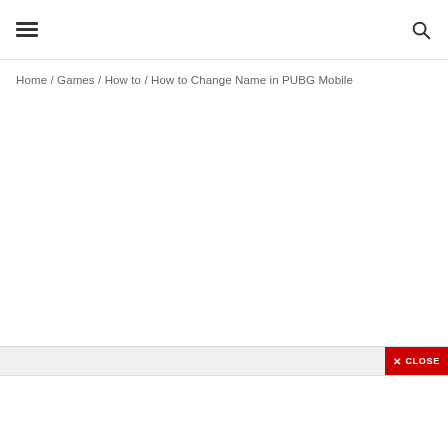≡  🔍
Home / Games / How to / How to Change Name in PUBG Mobile
[Figure (other): Close button banner at bottom of page with red background showing X CLOSE text]